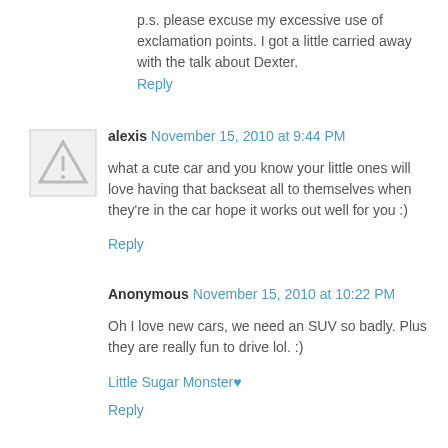p.s. please excuse my excessive use of exclamation points. I got a little carried away with the talk about Dexter.
Reply
alexis November 15, 2010 at 9:44 PM
what a cute car and you know your little ones will love having that backseat all to themselves when they're in the car hope it works out well for you :)
Reply
Anonymous November 15, 2010 at 10:22 PM
Oh I love new cars, we need an SUV so badly. Plus they are really fun to drive lol. :)
Little Sugar Monster♥
Reply